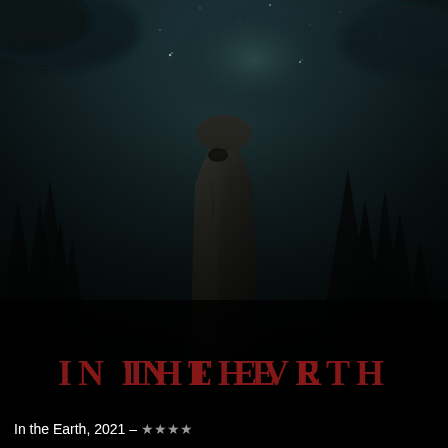[Figure (photo): Movie poster for 'In the Earth' (2021). Dark atmospheric image showing a tall ancient standing stone or monolith in the center, surrounded by dark conifer trees silhouetted against a dark teal/grey night sky with faint stars. The lower portion of the image transitions to near-complete black. In the middle-lower area of the poster, the title 'IN THE EARTH' is displayed in large dark red/crimson serif capital letters.]
In the Earth, 2021 – ★★★★